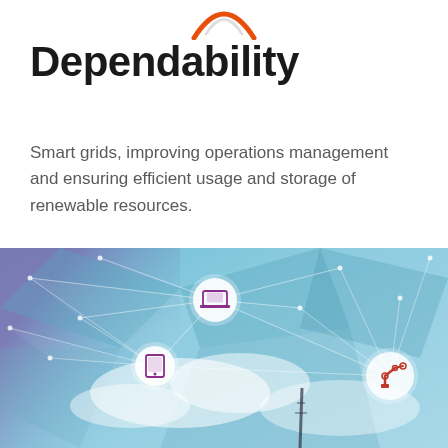[Figure (logo): Partial orange arc/swoosh logo at top center]
Dependability
Smart grids, improving operations management and ensuring efficient usage and storage of renewable resources.
[Figure (illustration): Technology infographic showing a sky background with connected network nodes featuring icons: laptop/computer, tablet/mobile device, and robotic arm, connected by geometric lines and triangles on a blue sky with clouds background]